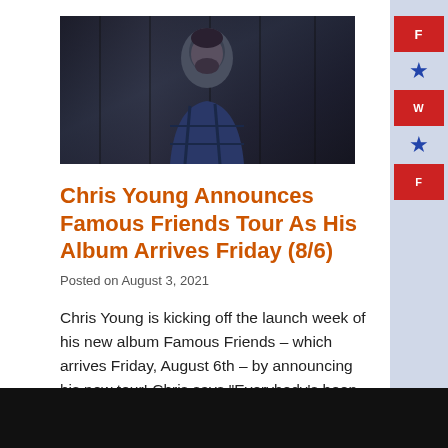[Figure (photo): Photo of Chris Young, a man with dark hair and beard wearing a blue plaid shirt, photographed against a dark wooden background]
Chris Young Announces Famous Friends Tour As His Album Arrives Friday (8/6)
Posted on August 3, 2021
Chris Young is kicking off the launch week of his new album Famous Friends – which arrives Friday, August 6th – by announcing his new tour! Chris says “Everybody’s been asking me when’s the tour announce – well now you have your answer and I couldn’t be more excited about it.” And the best part about…… MORE